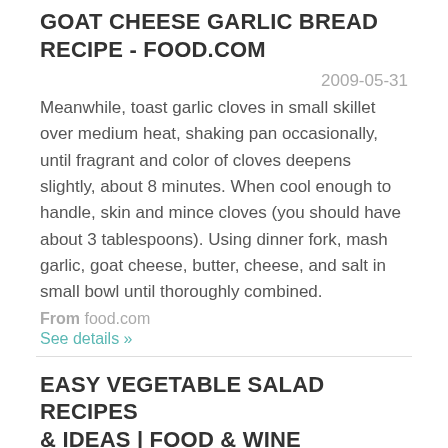GOAT CHEESE GARLIC BREAD RECIPE - FOOD.COM
2009-05-31
Meanwhile, toast garlic cloves in small skillet over medium heat, shaking pan occasionally, until fragrant and color of cloves deepens slightly, about 8 minutes. When cool enough to handle, skin and mince cloves (you should have about 3 tablespoons). Using dinner fork, mash garlic, goat cheese, butter, cheese, and salt in small bowl until thoroughly combined.
From food.com
See details »
EASY VEGETABLE SALAD RECIPES & IDEAS | FOOD & WINE
2022-08-22
Read More. Roasted Eggplant and Cauliflower